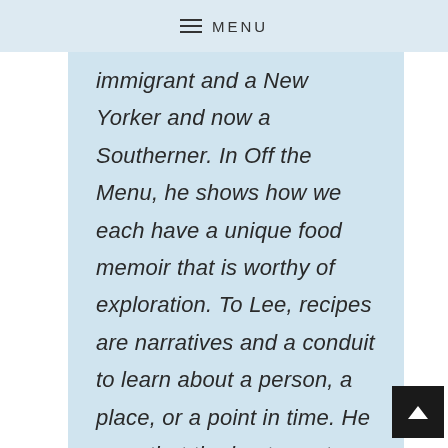MENU
immigrant and a New Yorker and now a Southerner. In Off the Menu, he shows how we each have a unique food memoir that is worthy of exploration. To Lee, recipes are narratives and a conduit to learn about a person, a place, or a point in time. He says that the best way to get